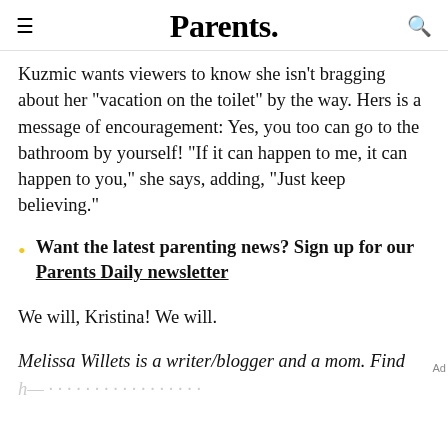Parents.
Kuzmic wants viewers to know she isn't bragging about her "vacation on the toilet" by the way. Hers is a message of encouragement: Yes, you too can go to the bathroom by yourself! "If it can happen to me, it can happen to you," she says, adding, "Just keep believing."
Want the latest parenting news? Sign up for our Parents Daily newsletter
We will, Kristina! We will.
Melissa Willets is a writer/blogger and a mom. Find
h...